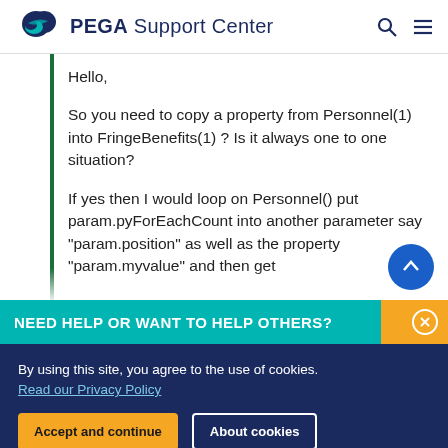PEGA Support Center
Hello,

So you need to copy a property from Personnel(1) into FringeBenefits(1) ? Is it always one to one situation?

If yes then I would loop on Personnel() put param.pyForEachCount into another parameter say "param.position" as well as the property "param.myvalue" and then get
NEED HELP OR WANT TO HELP OTHERS?
By using this site, you agree to the use of cookies.
Read our Privacy Policy
Accept and continue   About cookies